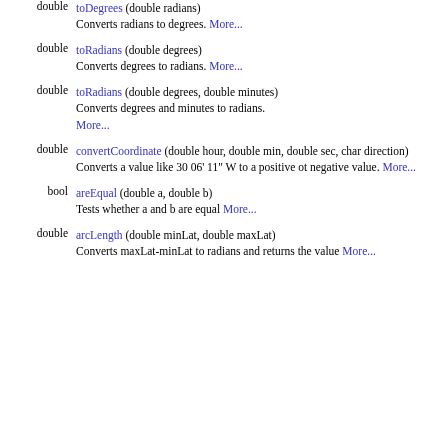double toDegrees (double radians)
Converts radians to degrees. More...
double toRadians (double degrees)
Converts degrees to radians. More...
double toRadians (double degrees, double minutes)
Converts degrees and minutes to radians. More...
double convertCoordinate (double hour, double min, double sec, char direction)
Converts a value like 30 06' 11" W to a positive ot negative value. More...
bool areEqual (double a, double b)
Tests whether a and b are equal More...
double arcLength (double minLat, double maxLat)
Converts maxLat-minLat to radians and returns the value More...